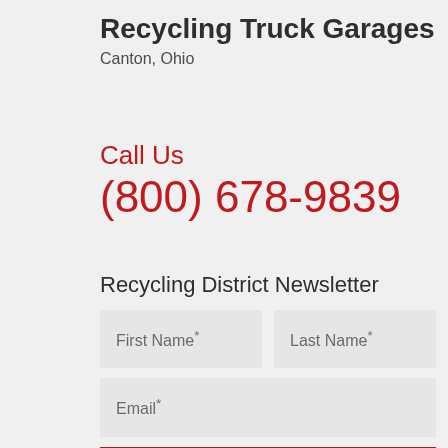Recycling Truck Garages
Canton, Ohio
Call Us
(800) 678-9839
Recycling District Newsletter
First Name*
Last Name*
Email*
SUBSCRIBE